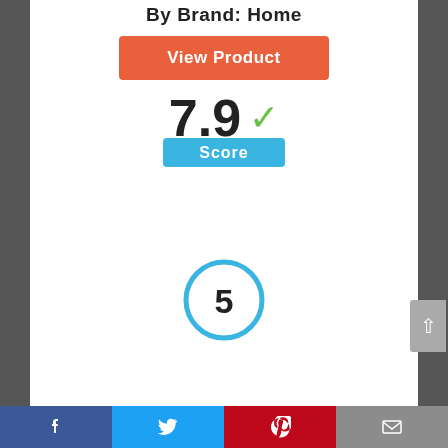By Brand: Home
View Product
7.9
Score
[Figure (other): Number 5 inside a blue circle badge]
[Figure (other): Partial product image at bottom]
Facebook | Twitter | Pinterest | Email share bar